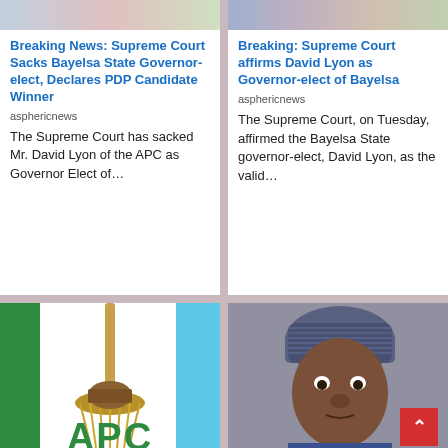[Figure (photo): Partial image at top of left news card]
Breaking News: Supreme Court Sacks Bayelsa State Governor-elect, Declares PDP Candidate Winner
asphericnews
The Supreme Court has sacked Mr. David Lyon of the APC as Governor Elect of…
[Figure (photo): Partial image at top of right news card]
Breaking: Supreme Court affirms David Lyon as Governor-elect of Bayelsa
asphericnews
The Supreme Court, on Tuesday, affirmed the Bayelsa State governor-elect, David Lyon, as the valid…
[Figure (photo): APC party logo with broom and green-white-blue flag colors and APC text at bottom]
[Figure (photo): Portrait photograph of a man wearing a traditional cap and blue outfit]